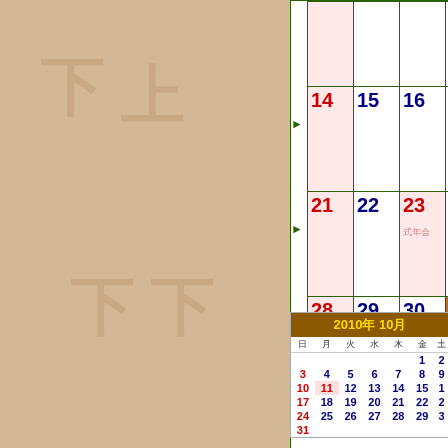[Figure (other): Japanese calendar page showing September/October 2010. Main calendar grid shows days 14-30 with some days highlighted in pink. A mini October 2010 calendar is shown in the bottom right. Left side has decorative watermark Japanese characters on tan/beige background.]